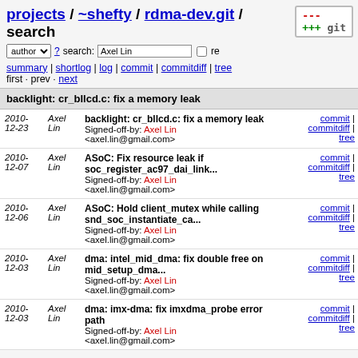projects / ~shefty / rdma-dev.git / search
author ? search: Axel Lin  re
summary | shortlog | log | commit | commitdiff | tree
first · prev · next
backlight: cr_bllcd.c: fix a memory leak
| Date | Author | Message | Links |
| --- | --- | --- | --- |
| 2010-12-23 | Axel Lin | backlight: cr_bllcd.c: fix a memory leak
Signed-off-by: Axel Lin <axel.lin@gmail.com> | commit | commitdiff | tree |
| 2010-12-07 | Axel Lin | ASoC: Fix resource leak if soc_register_ac97_dai_link...
Signed-off-by: Axel Lin <axel.lin@gmail.com> | commit | commitdiff | tree |
| 2010-12-06 | Axel Lin | ASoC: Hold client_mutex while calling snd_soc_instantiate_ca...
Signed-off-by: Axel Lin <axel.lin@gmail.com> | commit | commitdiff | tree |
| 2010-12-03 | Axel Lin | dma: intel_mid_dma: fix double free on mid_setup_dma...
Signed-off-by: Axel Lin <axel.lin@gmail.com> | commit | commitdiff | tree |
| 2010-12-03 | Axel Lin | dma: imx-dma: fix imxdma_probe error path
Signed-off-by: Axel Lin <axel.lin@gmail.com> | commit | commitdiff | tree |